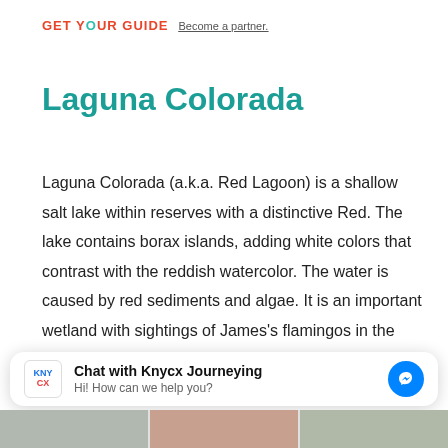GET YOUR GUIDE  Become a partner.
Laguna Colorada
Laguna Colorada (a.k.a. Red Lagoon) is a shallow salt lake within reserves with a distinctive Red. The lake contains borax islands, adding white colors that contrast with the reddish watercolor. The water is caused by red sediments and algae. It is an important wetland with sightings of James's flamingos in the area.
Chat with Knycx Journeying
Hi! How can we help you?
[Figure (photo): Three thumbnail images of Laguna Colorada landscape at bottom of page]